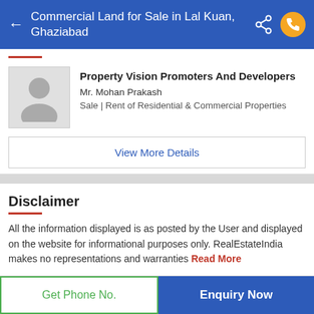Commercial Land for Sale in Lal Kuan, Ghaziabad
Property Vision Promoters And Developers
Mr. Mohan Prakash
Sale | Rent of Residential & Commercial Properties
View More Details
Disclaimer
All the information displayed is as posted by the User and displayed on the website for informational purposes only. RealEstateIndia makes no representations and warranties Read More
Get Phone No.
Enquiry Now